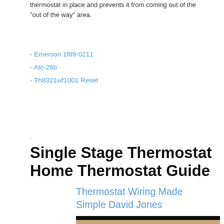thermostat in place and prevents it from coming out of the 'out of the way' area.
- Emerson 1f89-0211
- Atc-26b
- Th8321wf1001 Reset
.
Single Stage Thermostat Home Thermostat Guide
Thermostat Wiring Made Simple David Jones
[Figure (photo): Photo of a thermostat device against a dark background]